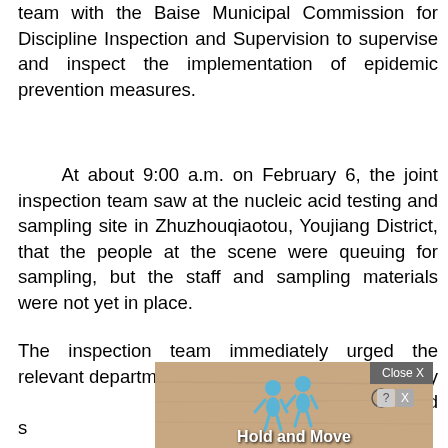team with the Baise Municipal Commission for Discipline Inspection and Supervision to supervise and inspect the implementation of epidemic prevention measures.
At about 9:00 a.m. on February 6, the joint inspection team saw at the nucleic acid testing and sampling site in Zhuzhouqiaotou, Youjiang District, that the people at the scene were queuing for sampling, but the staff and sampling materials were not yet in place.
The inspection team immediately urged the relevant departments of Youjiang District to carry out their responsibility and supply
[Figure (other): Ad overlay with 'Hold and Move' label, two blue figure icons, a 'Close X' button, and a help/close icon on a tan/wood-texture background.]